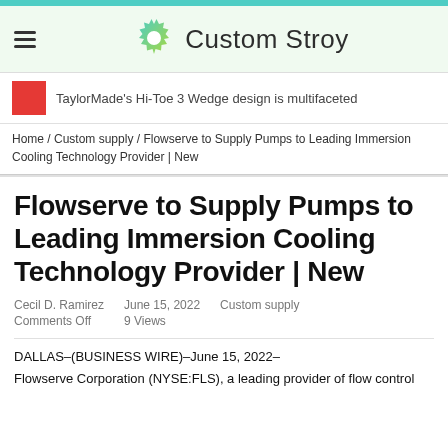Custom Stroy
TaylorMade's Hi-Toe 3 Wedge design is multifaceted
Home / Custom supply / Flowserve to Supply Pumps to Leading Immersion Cooling Technology Provider | New
Flowserve to Supply Pumps to Leading Immersion Cooling Technology Provider | New
Cecil D. Ramirez  June 15, 2022  Custom supply
Comments Off  9 Views
DALLAS–(BUSINESS WIRE)–June 15, 2022–
Flowserve Corporation (NYSE:FLS), a leading provider of flow control